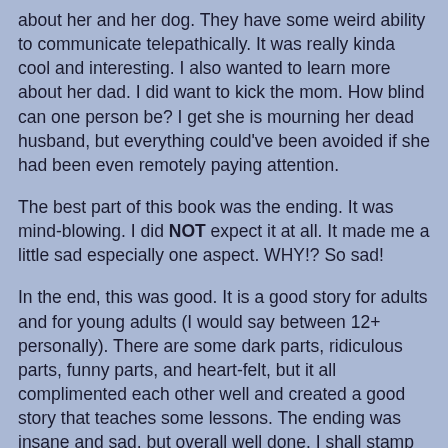about her and her dog. They have some weird ability to communicate telepathically. It was really kinda cool and interesting. I also wanted to learn more about her dad. I did want to kick the mom. How blind can one person be? I get she is mourning her dead husband, but everything could've been avoided if she had been even remotely paying attention.
The best part of this book was the ending. It was mind-blowing. I did NOT expect it at all. It made me a little sad especially one aspect. WHY!? So sad!
In the end, this was good. It is a good story for adults and for young adults (I would say between 12+ personally). There are some dark parts, ridiculous parts, funny parts, and heart-felt, but it all complimented each other well and created a good story that teaches some lessons. The ending was insane and sad, but overall well done. I shall stamp this with 4 stars.